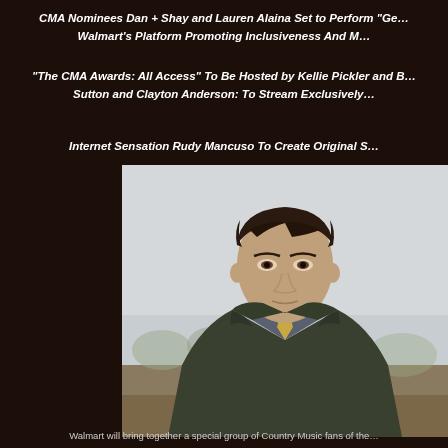CMA Nominees Dan + Shay and Lauren Alaina Set to Perform "Ge... Walmart's Platform Promoting Inclusiveness And M...
"The CMA Awards: All Access" To Be Hosted by Kellie Pickler and B... Sutton and Clayton Anderson: To Stream Exclusively...
Internet Sensation Rudy Mancuso To Create Original S...
[Figure (photo): Portrait photograph of a man with dark hair wearing a dark olive/army green jacket over a plaid shirt and tie, photographed outdoors with a blurred natural background.]
Walmart will bring together a special group of Country Music fans of the...